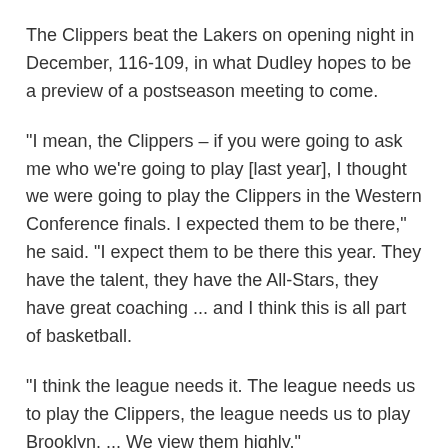The Clippers beat the Lakers on opening night in December, 116-109, in what Dudley hopes to be a preview of a postseason meeting to come.
"I mean, the Clippers – if you were going to ask me who we're going to play [last year], I thought we were going to play the Clippers in the Western Conference finals. I expected them to be there," he said. "I expect them to be there this year. They have the talent, they have the All-Stars, they have great coaching ... and I think this is all part of basketball.
"I think the league needs it. The league needs us to play the Clippers, the league needs us to play Brooklyn. ... We view them highly."
Just not too highly.
"We know Lakers will always be ... The Lakers will be L.A.," Dudley